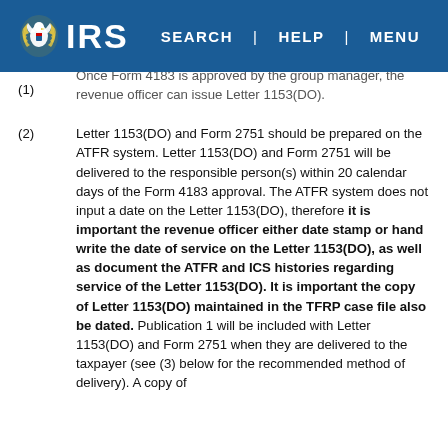IRS | SEARCH | HELP | MENU
(1) Once Form 4183 is approved by the group manager, the revenue officer can issue Letter 1153(DO).
(2) Letter 1153(DO) and Form 2751 should be prepared on the ATFR system. Letter 1153(DO) and Form 2751 will be delivered to the responsible person(s) within 20 calendar days of the Form 4183 approval. The ATFR system does not input a date on the Letter 1153(DO), therefore it is important the revenue officer either date stamp or hand write the date of service on the Letter 1153(DO), as well as document the ATFR and ICS histories regarding service of the Letter 1153(DO). It is important the copy of Letter 1153(DO) maintained in the TFRP case file also be dated. Publication 1 will be included with Letter 1153(DO) and Form 2751 when they are delivered to the taxpayer (see (3) below for the recommended method of delivery). A copy of